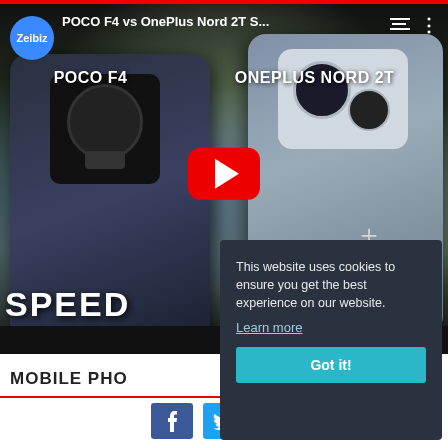[Figure (screenshot): YouTube video thumbnail showing POCO F4 vs OnePlus Nord 2T speed comparison, with Zeibiz channel logo, phone labels, and YouTube play button in center]
This website uses cookies to ensure you get the best experience on our website.
Learn more
Got it!
MOBILE PHO
[Figure (infographic): Social share buttons: Facebook (blue), Twitter (light blue), Email (grey)]